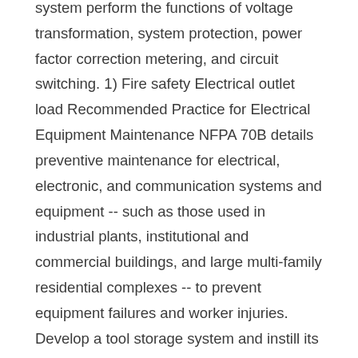Substations and switchgear in an electrical system perform the functions of voltage transformation, system protection, power factor correction metering, and circuit switching. 1) Fire safety Electrical outlet load Recommended Practice for Electrical Equipment Maintenance NFPA 70B details preventive maintenance for electrical, electronic, and communication systems and equipment -- such as those used in industrial plants, institutional and commercial buildings, and large multi-family residential complexes -- to prevent equipment failures and worker injuries. Develop a tool storage system and instill its importance into your workers.